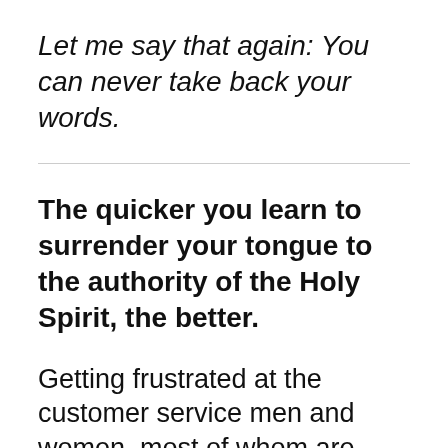Let me say that again: You can never take back your words.
The quicker you learn to surrender your tongue to the authority of the Holy Spirit, the better.
Getting frustrated at the customer service men and women–most of whom are from India–will not make